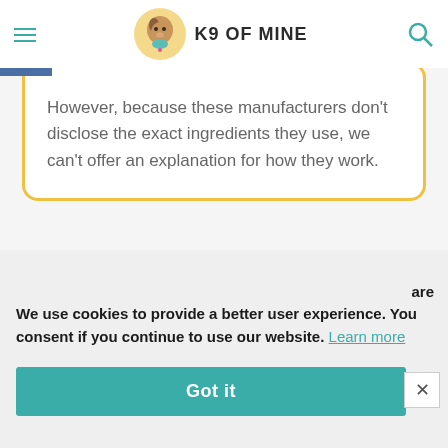K9 OF MINE
However, because these manufacturers don't disclose the exact ingredients they use, we can't offer an explanation for how they work.
We use cookies to provide a better user experience. You consent if you continue to use our website. Learn more
Got it